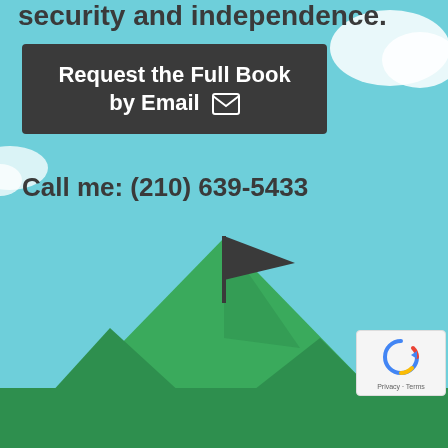security and independence.
[Figure (infographic): Dark rounded rectangle button with white text: 'Request the Full Book by Email' with envelope icon]
Call me: (210) 639-5433
[Figure (illustration): Illustrated green mountain peak with a dark flag on top, set against a light blue sky with white clouds]
[Figure (other): Google reCAPTCHA badge with Privacy and Terms text]